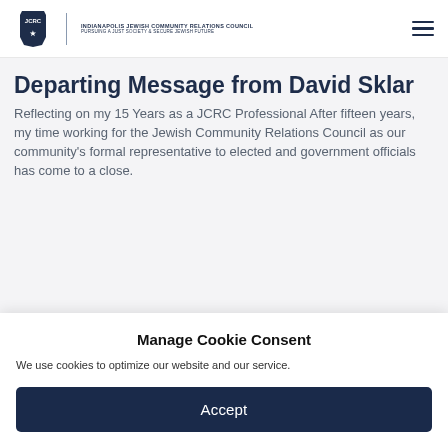Indianapolis Jewish Community Relations Council — Pursuing a Just Society & Secure Jewish Future
Departing Message from David Sklar
Reflecting on my 15 Years as a JCRC Professional After fifteen years, my time working for the Jewish Community Relations Council as our community's formal representative to elected and government officials has come to a close.
Manage Cookie Consent
We use cookies to optimize our website and our service.
Accept